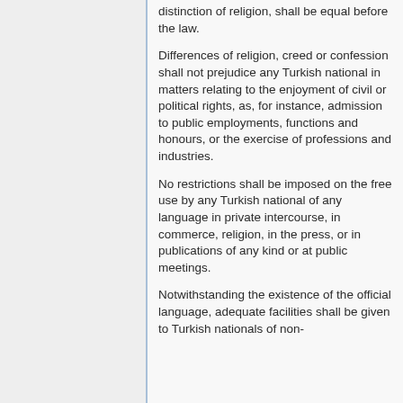distinction of religion, shall be equal before the law.
Differences of religion, creed or confession shall not prejudice any Turkish national in matters relating to the enjoyment of civil or political rights, as, for instance, admission to public employments, functions and honours, or the exercise of professions and industries.
No restrictions shall be imposed on the free use by any Turkish national of any language in private intercourse, in commerce, religion, in the press, or in publications of any kind or at public meetings.
Notwithstanding the existence of the official language, adequate facilities shall be given to Turkish nationals of non-